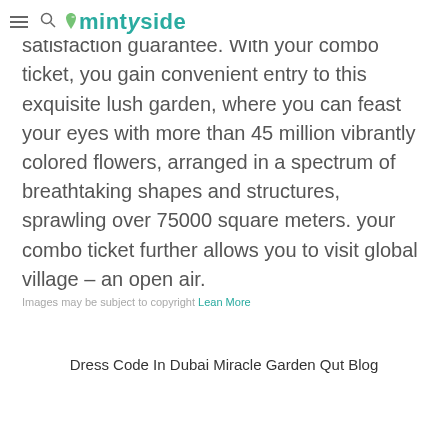mintyside
about all the activities with a 100% satisfaction guarantee. With your combo ticket, you gain convenient entry to this exquisite lush garden, where you can feast your eyes with more than 45 million vibrantly colored flowers, arranged in a spectrum of breathtaking shapes and structures, sprawling over 75000 square meters. your combo ticket further allows you to visit global village – an open air.
Images may be subject to copyright Lean More
Dress Code In Dubai Miracle Garden Qut Blog